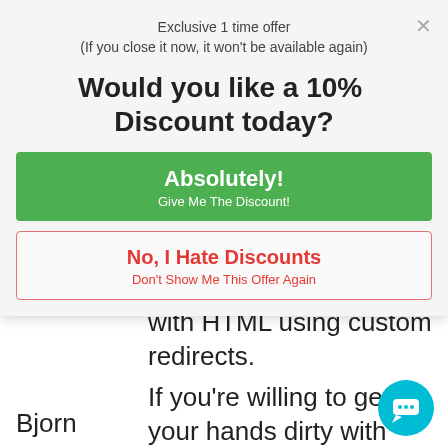Exclusive 1 time offer
(If you close it now, it won't be available again)
Would you like a 10%  Discount today?
Absolutely!
Give Me The Discount!
No, I Hate Discounts
Don't Show Me This Offer Again
with HTML using custom redirects.
If you're willing to get your hands dirty with JavaScript there are a dozen more ways to implement them.
Bjorn
[Figure (illustration): Cyan chat bubble icon in bottom right corner]